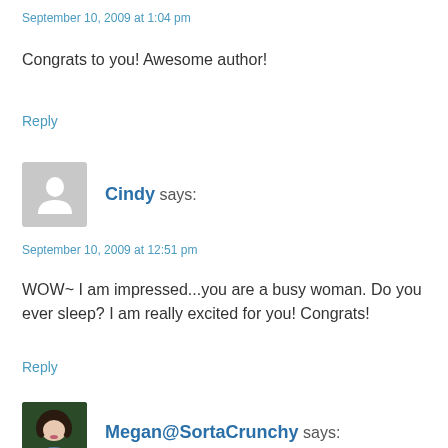September 10, 2009 at 1:04 pm
Congrats to you! Awesome author!
Reply
[Figure (illustration): Generic gray avatar placeholder with person silhouette icon]
Cindy says:
September 10, 2009 at 12:51 pm
WOW~ I am impressed...you are a busy woman. Do you ever sleep? I am really excited for you! Congrats!
Reply
[Figure (photo): Small photo of Megan@SortaCrunchy, a woman with dark hair wearing a blue/grey shirt, against a dark green background]
Megan@SortaCrunchy says: